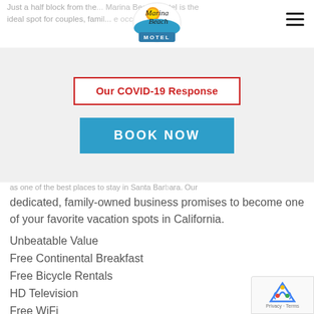Just a half block from the... Marina Beach Motel is the ideal spot for couples, families, and the occasional lone...
[Figure (logo): Marina Beach Motel circular logo with sun and wave]
Our COVID-19 Response
BOOK NOW
...as one of the best places to stay in Santa Barbara. Our dedicated, family-owned business promises to become one of your favorite vacation spots in California.
Unbeatable Value
Free Continental Breakfast
Free Bicycle Rentals
HD Television
Free WiFi